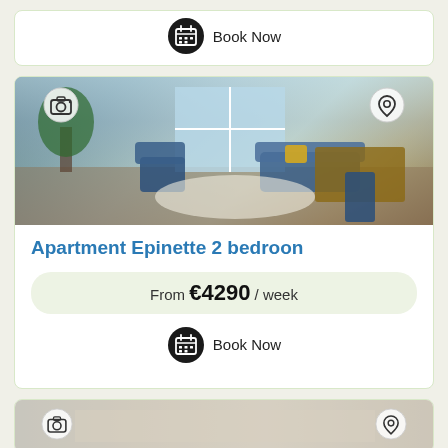Book Now
[Figure (photo): Interior photo of Apartment Epinette 2 bedroom showing living room with blue chairs, wooden dining table, blue sofa with yellow cushions, and large window]
Apartment Epinette 2 bedroon
From €4290 / week
Book Now
[Figure (photo): Partial view of another apartment listing photo at bottom of page]